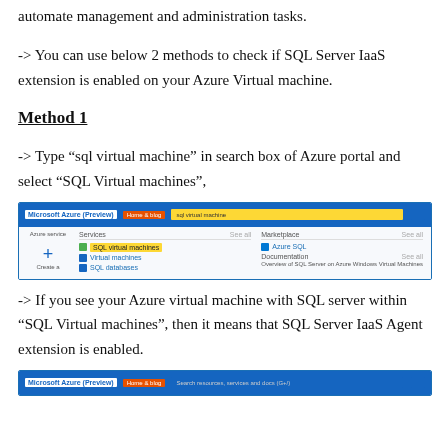automate management and administration tasks.
-> You can use below 2 methods to check if SQL Server IaaS extension is enabled on your Azure Virtual machine.
Method 1
-> Type “sql virtual machine” in search box of Azure portal and select “SQL Virtual machines”,
[Figure (screenshot): Microsoft Azure portal screenshot showing search results for 'sql virtual machine' with SQL Virtual machines highlighted in yellow, along with Virtual machines and SQL databases options]
-> If you see your Azure virtual machine with SQL server within “SQL Virtual machines”, then it means that SQL Server IaaS Agent extension is enabled.
[Figure (screenshot): Partial Microsoft Azure portal screenshot (bottom of page)]